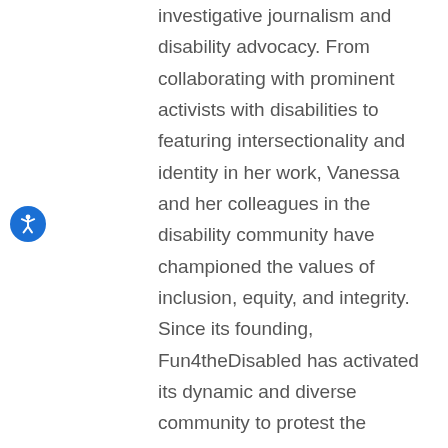investigative journalism and disability advocacy. From collaborating with prominent activists with disabilities to featuring intersectionality and identity in her work, Vanessa and her colleagues in the disability community have championed the values of inclusion, equity, and integrity. Since its founding, Fun4theDisabled has activated its dynamic and diverse community to protest the widespread ableism and systemic discrimination experienced by people with different abilities. Because people with disabilities are often overlooked in mainstream media, Fun4theDisabled presents art, stories,
[Figure (illustration): Blue circular accessibility icon button showing a white human figure in a dynamic pose, representing accessibility features]